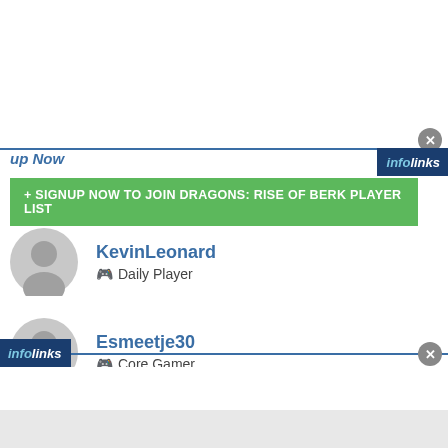up Now
[Figure (logo): infolinks badge top right]
+ SIGNUP NOW TO JOIN DRAGONS: RISE OF BERK PLAYER LIST
KevinLeonard - Daily Player
Esmeetje30 - Core Gamer
Esje890 - Core Gamer
[Figure (logo): infolinks badge bottom left]